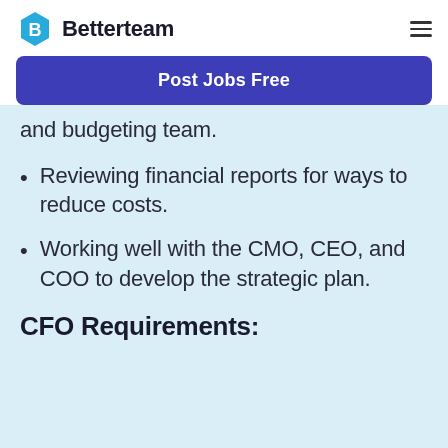Betterteam
[Figure (logo): Betterteam logo with blue hexagon icon and bold text]
Post Jobs Free
and budgeting team.
Reviewing financial reports for ways to reduce costs.
Working well with the CMO, CEO, and COO to develop the strategic plan.
CFO Requirements: